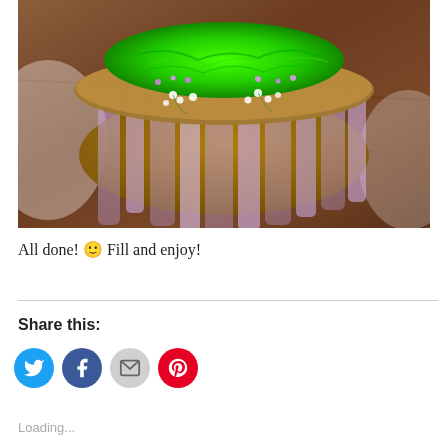[Figure (photo): A decorated Easter basket or floral arrangement with bright green shredded filler on top, surrounded by light purple/lavender tulle fabric draping down to a wooden surface. Small white flowers (baby's breath) are tucked around the rim. The background is a wooden table.]
All done! 🙂 Fill and enjoy!
Share this:
Loading...